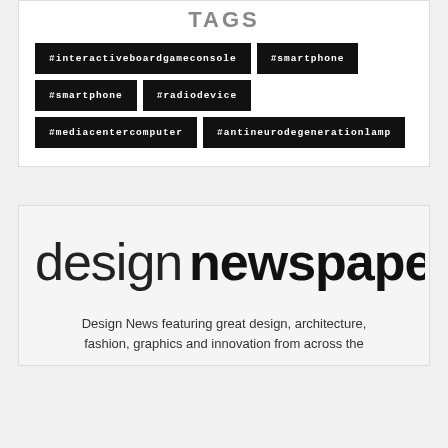TAGS
#interactiveboardgameconsole
#smartphone
#smartphone
#radiodevice
#mediacentercomputer
#antineurodegenerationlamp
[Figure (logo): Design Newspaper logo — 'design' in thin weight and 'newspaper' in bold black]
Design News featuring great design, architecture, fashion, graphics and innovation from across the